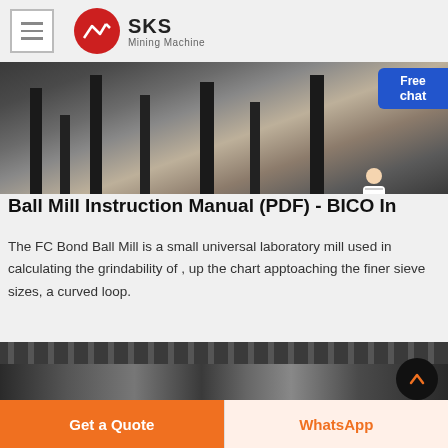SKS Mining Machine
[Figure (photo): Industrial mining machinery equipment in a warehouse/factory setting with large metal frames and machinery on the floor]
Ball Mill Instruction Manual (PDF) - BICO Inc
The FC Bond Ball Mill is a small universal laboratory mill used in calculating the grindability of , up the chart apptoaching the finer sieve sizes, a curved loop.
[Figure (photo): Close-up of a ball mill machine showing gears, mechanical components, and red base]
Get a Quote
WhatsApp